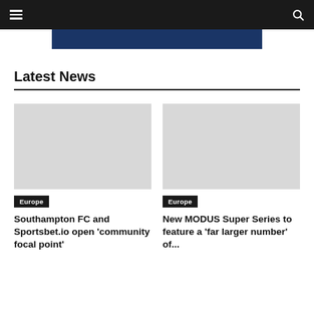☰  🔍
[Figure (other): Dark blue banner/advertisement strip]
Latest News
[Figure (photo): News article image placeholder - Europe tag - Southampton FC and Sportsbet.io open 'community focal point']
[Figure (photo): News article image placeholder - Europe tag - New MODUS Super Series to feature a 'far larger number' of...]
Europe
Southampton FC and Sportsbet.io open 'community focal point'
Europe
New MODUS Super Series to feature a 'far larger number' of...